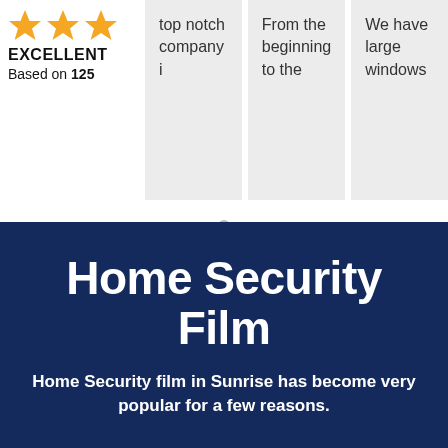[Figure (infographic): Three yellow stars rating icon with EXCELLENT label and 'Based on 125' text below]
top notch company i
From the beginning to the
We have large windows
[Figure (other): A small grey dot used as a carousel/slider indicator]
Home Security Film
Home Security film in Sunrise has become very popular for a few reasons.